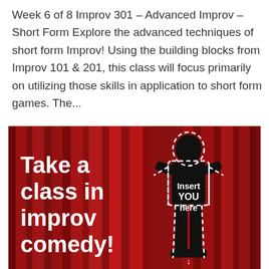Week 6 of 8 Improv 301 – Advanced Improv – Short Form Explore the advanced techniques of short form Improv! Using the building blocks from Improv 101 & 201, this class will focus primarily on utilizing those skills in application to short form games. The...
[Figure (illustration): Promotional image for an improv comedy class. Red theater curtains in the background with bold white text on the left reading 'Take a class in improv comedy!' and a black silhouette of a person standing with hands on hips outlined with a dashed white line. Text inside the silhouette reads 'Insert YOU here'.]